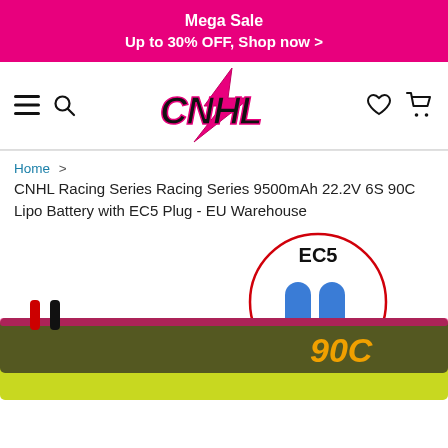Mega Sale
Up to 30% OFF, Shop now >
[Figure (logo): CNHL logo with pink lightning bolt]
Home > CNHL Racing Series Racing Series 9500mAh 22.2V 6S 90C Lipo Battery with EC5 Plug - EU Warehouse
[Figure (photo): Product photo of CNHL Racing Series 9500mAh 22.2V 6S 90C Lipo Battery with EC5 plug callout circle showing blue EC5 connector]